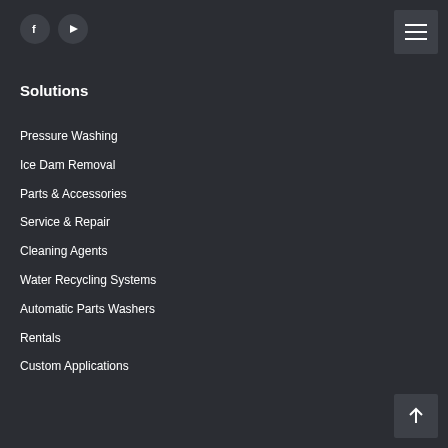[Figure (logo): Facebook and YouTube social media icons (circular dark background) in top-left]
[Figure (other): Hamburger menu icon (three horizontal lines) in top-right corner on dark background]
Solutions
Pressure Washing
Ice Dam Removal
Parts & Accessories
Service & Repair
Cleaning Agents
Water Recycling Systems
Automatic Parts Washers
Rentals
Custom Applications
[Figure (other): Scroll-to-top arrow button in bottom-right corner on dark background]